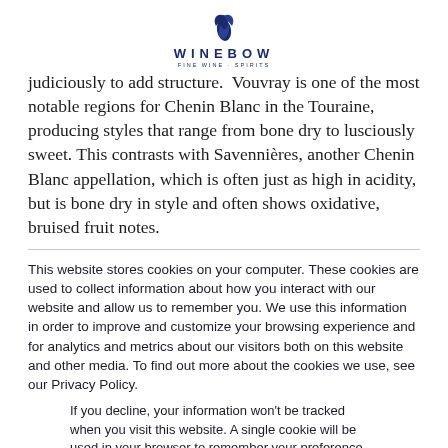WINEBOW
judiciously to add structure. Vouvray is one of the most notable regions for Chenin Blanc in the Touraine, producing styles that range from bone dry to lusciously sweet. This contrasts with Savennières, another Chenin Blanc appellation, which is often just as high in acidity, but is bone dry in style and often shows oxidative, bruised fruit notes.
This website stores cookies on your computer. These cookies are used to collect information about how you interact with our website and allow us to remember you. We use this information in order to improve and customize your browsing experience and for analytics and metrics about our visitors both on this website and other media. To find out more about the cookies we use, see our Privacy Policy.
If you decline, your information won't be tracked when you visit this website. A single cookie will be used in your browser to remember your preference not to be tracked.
Accept | Decline